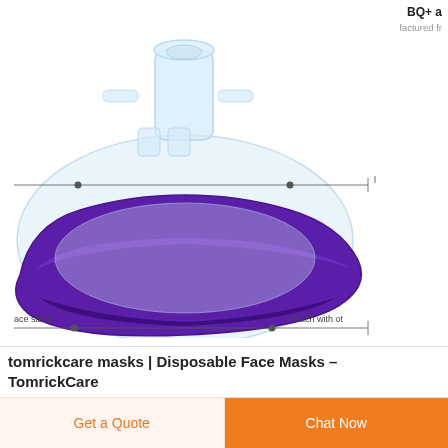BQ+ a
is manufactured fr
[Figure (photo): A disposable anesthesia/CPR face mask with a transparent polycarbonate dome and purple silicone cushion rim, shown with annotation lines pointing to features. Labels partially visible: 'ace sizes' on bottom left and 'match with ot' on bottom right.]
tomrickcare masks | Disposable Face Masks – TomrickCare